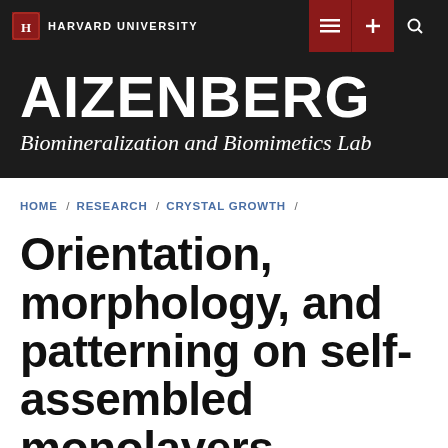HARVARD UNIVERSITY
AIZENBERG
Biomineralization and Biomimetics Lab
HOME / RESEARCH / CRYSTAL GROWTH /
Orientation, morphology, and patterning on self-assembled monolayers